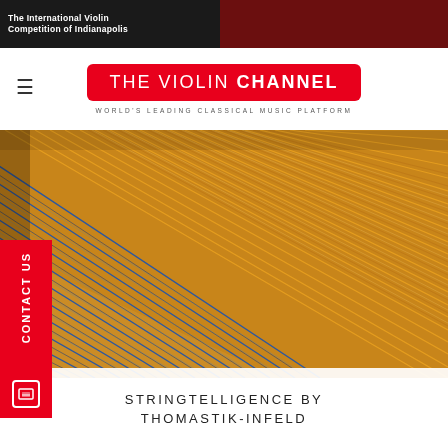The International Violin Competition of Indianapolis
[Figure (logo): The Violin Channel logo — red rounded rectangle with white text reading THE VIOLIN CHANNEL. Tagline: WORLD'S LEADING CLASSICAL MUSIC PLATFORM]
[Figure (photo): Close-up photograph of violin bow strings — diagonal arrangement of blue strings in lower-left and golden/amber strings in upper-right, shot at an angle]
STRINGTELLIGENCE BY THOMASTIK-INFELD